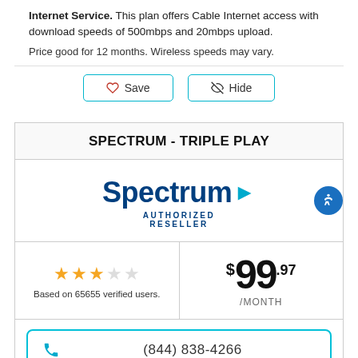Internet Service. This plan offers Cable Internet access with download speeds of 500mbps and 20mbps upload.
Price good for 12 months. Wireless speeds may vary.
[Figure (screenshot): Save and Hide buttons with heart and crossed-eye icons]
SPECTRUM - TRIPLE PLAY
[Figure (logo): Spectrum Authorized Reseller logo in dark blue with teal arrow]
Based on 65655 verified users.
$99.97 /MONTH
(844) 838-4266